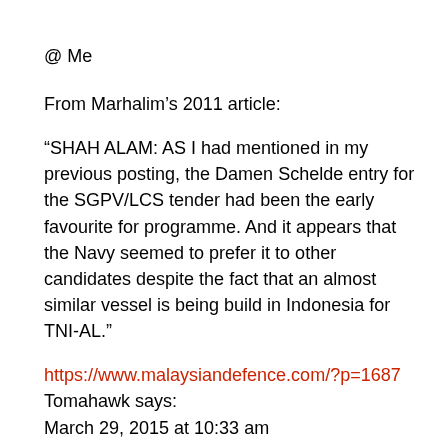@ Me
From Marhalim’s 2011 article:
“SHAH ALAM: AS I had mentioned in my previous posting, the Damen Schelde entry for the SGPV/LCS tender had been the early favourite for programme. And it appears that the Navy seemed to prefer it to other candidates despite the fact that an almost similar vessel is being build in Indonesia for TNI-AL.”
https://www.malaysiandefence.com/?p=1687
Tomahawk says:
March 29, 2015 at 10:33 am
Thank you all my people for warm wishes after passing of sg lee kuan yew! May Sg and My continue progress.
In realm of defend, may saf continue be a force for stabiliti in region. Continue Mr lee policy of pragmatic defend spending and not to little and not to much.